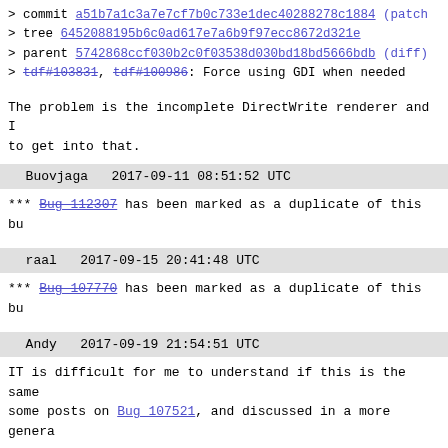> commit a51b7a1c3a7e7cf7b0c733e1dec40288278c1884 (patch
> tree 6452088195b6c0ad617e7a6b9f97ecc8672d321e
> parent 5742868ccf030b2c0f03538d030bd18bd5666bdb (diff)
> tdf#103831, tdf#100986: Force using GDI when needed
The problem is the incomplete DirectWrite renderer and I
to get into that.
Buovjaga   2017-09-11 08:51:52 UTC
*** Bug 112307 has been marked as a duplicate of this bu
raal   2017-09-15 20:41:48 UTC
*** Bug 107770 has been marked as a duplicate of this bu
Andy   2017-09-19 21:54:51 UTC
IT is difficult for me to understand if this is the same
some posts on Bug 107521, and discussed in a more genera
To me this occurs in a more widespread fashion, not excl
up keys, even though it is clearly evident in that case.
It happens also with brand new files, not only old ones;
It depends on the thickness of data displayed on the she